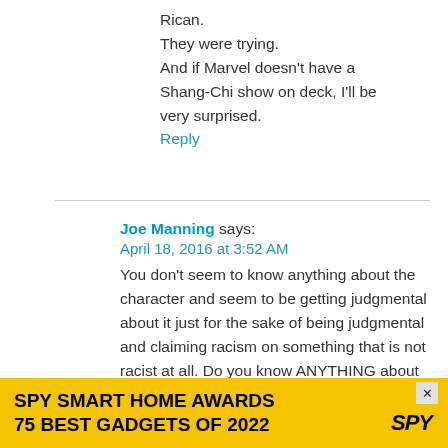Rican.
They were trying.
And if Marvel doesn't have a Shang-Chi show on deck, I'll be very surprised.
Reply
Joe Manning says:
April 18, 2016 at 3:52 AM
You don't seem to know anything about the character and seem to be getting judgmental about it just for the sake of being judgmental and claiming racism on something that is not racist at all. Do you know ANYTHING about Danny Rand? Saying he should never have existed in the first place....for what
[Figure (infographic): SPY Smart Home Awards advertisement banner - yellow background with text 'SPY SMART HOME AWARDS 75 BEST GADGETS OF 2022' and SPY logo]